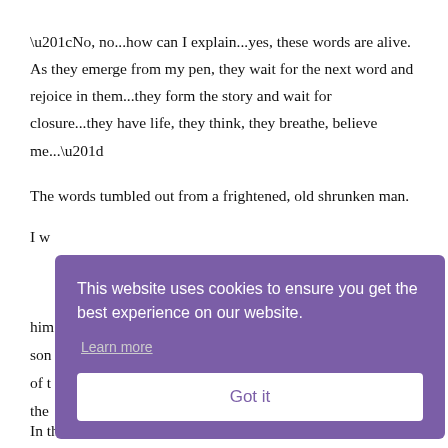“No, no...how can I explain...yes, these words are alive. As they emerge from my pen, they wait for the next word and rejoice in them...they form the story and wait for closure...they have life, they think, they breathe, believe me...”
The words tumbled out from a frightened, old shrunken man.
I w...
[Figure (screenshot): Cookie consent banner overlay with purple background. Text reads: 'This website uses cookies to ensure you get the best experience on our website.' with a 'Learn more' link and a 'Got it' button.]
In the morning, I decided to visit Miyazawa-san again. I could